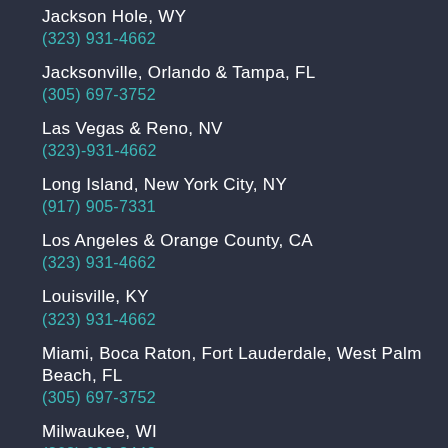Jackson Hole, WY
(323) 931-4662
Jacksonville, Orlando & Tampa, FL
(305) 697-3752
Las Vegas & Reno, NV
(323)-931-4662
Long Island, New York City, NY
(917) 905-7331
Los Angeles & Orange County, CA
(323) 931-4662
Louisville, KY
(323) 931-4662
Miami, Boca Raton, Fort Lauderdale, West Palm Beach, FL
(305) 697-3752
Milwaukee, WI
(262) 600-3443